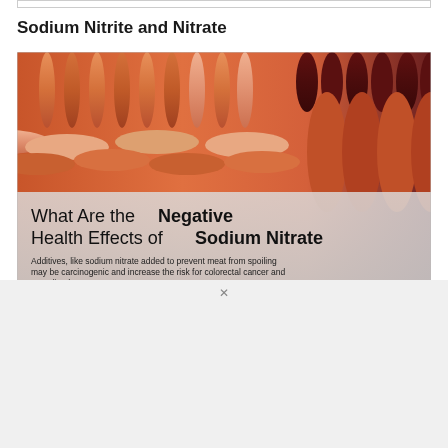Sodium Nitrite and Nitrate
[Figure (photo): Photograph of various sausages and processed meats (hot dogs, bratwursts, dark sausages) arranged in rows, with an overlay text box reading: 'What Are the Negative Health Effects of Sodium Nitrate — Additives, like sodium nitrate added to prevent meat from spoiling may be carcinogenic and increase the risk for colorectal cancer and mortality due to cancer.']